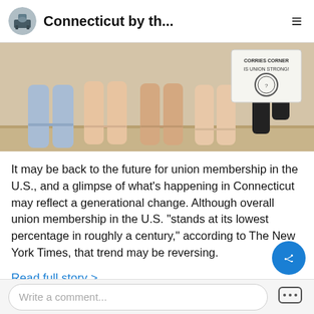Connecticut by th...
[Figure (photo): Photo showing several people from the waist down wearing shorts, standing on a light wood floor; one person on the right holds a sign that reads 'CORRIES CORNER IS UNION STRONG!']
It may be back to the future for union membership in the U.S., and a glimpse of what’s happening in Connecticut may reflect a generational change. Although overall union membership in the U.S. “stands at its lowest percentage in roughly a century,” according to The New York Times, that trend may be reversing.
Read full story >
Write a comment...